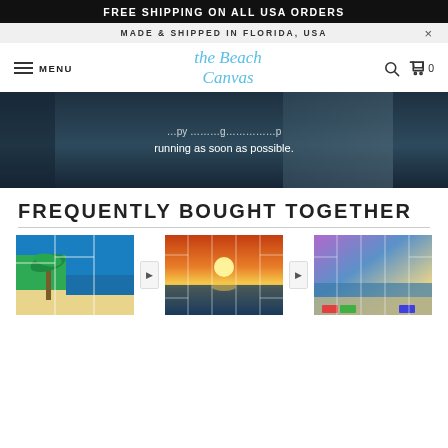FREE SHIPPING ON ALL USA ORDERS
MADE & SHIPPED IN FLORIDA, USA
[Figure (logo): The Beach Canvas cursive logo in blue]
MENU
[Figure (screenshot): Dark video/image overlay with partial text: running as soon as possible.]
FREQUENTLY BOUGHT TOGETHER
[Figure (photo): Three canvas art products shown side by side: beach with palm trees, ocean sunset on wall, purple/blue beach scene]
Product image 1: Beach palm trees canvas
Product image 2: Ocean sunset canvas
Product image 3: Purple blue beach canvas